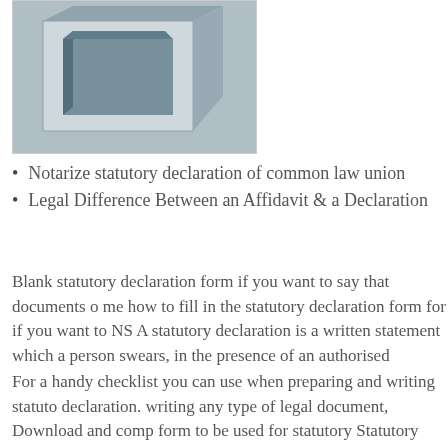[Figure (photo): A 3D rendered image of a light blue/grey rectangular box or frame shape, shown at an angle, resembling a document holder or frame with a recessed inner face.]
Notarize statutory declaration of common law union
Legal Difference Between an Affidavit & a Declaration
Blank statutory declaration form if you want to say that documents o me how to fill in the statutory declaration form for if you want to NS A statutory declaration is a written statement which a person swears, in the presence of an authorised
For a handy checklist you can use when preparing and writing statuto declaration. writing any type of legal document, Download and comp form to be used for statutory Statutory declaration forms for a fellow